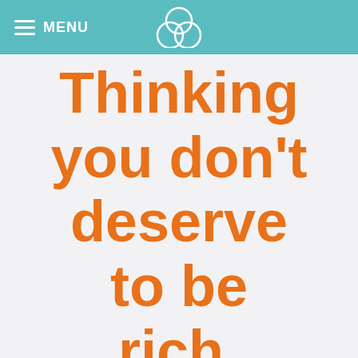MENU
Thinking you don't deserve to be rich.